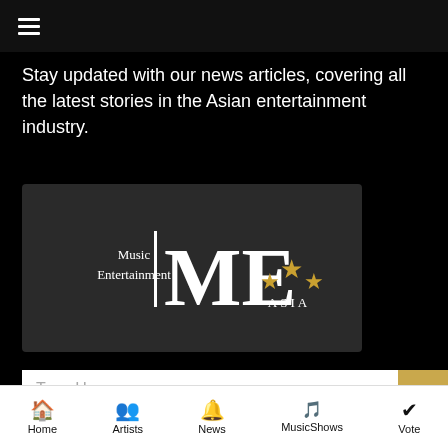≡ (hamburger menu)
Stay updated with our news articles, covering all the latest stories in the Asian entertainment industry.
[Figure (logo): Music Entertainment Asia (ME Asia) logo with large stylized 'ME' text, three gold stars, and text 'Music Entertainment' on the left, 'ASIA' on the right, on dark background]
Type Here
Home | Artists | News | MusicShows | Vote